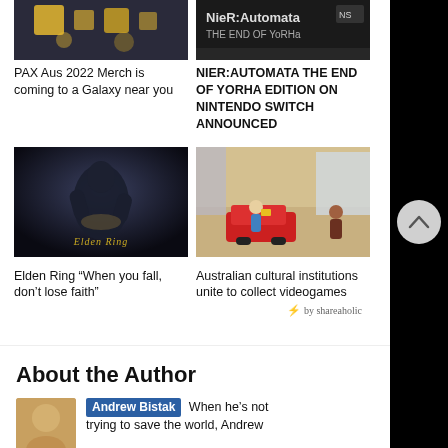[Figure (photo): PAX Aus 2022 merchandise promotional image with yellow/gold designs on dark background]
PAX Aus 2022 Merch is coming to a Galaxy near you
[Figure (photo): NieR:Automata The End of YoRHa Edition Nintendo Switch promotional screenshot]
NIER:AUTOMATA THE END OF YORHA EDITION ON NINTENDO SWITCH ANNOUNCED
[Figure (photo): Elden Ring promotional image showing dark muscular figure with golden game title text]
Elden Ring “When you fall, don’t lose faith”
[Figure (photo): Australian cultural institutions video game collection screenshot showing animated scene]
Australian cultural institutions unite to collect videogames
⚡ by shareaholic
About the Author
[Figure (photo): Author photo of Andrew Bistak]
Andrew Bistak When he's not trying to save the world, Andrew